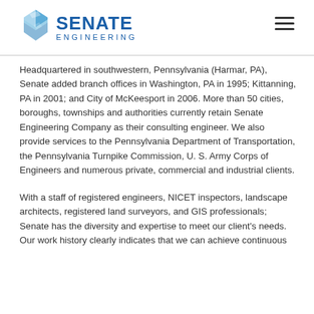Senate Engineering
Headquartered in southwestern, Pennsylvania (Harmar, PA), Senate added branch offices in Washington, PA in 1995; Kittanning, PA in 2001; and City of McKeesport in 2006. More than 50 cities, boroughs, townships and authorities currently retain Senate Engineering Company as their consulting engineer. We also provide services to the Pennsylvania Department of Transportation, the Pennsylvania Turnpike Commission, U. S. Army Corps of Engineers and numerous private, commercial and industrial clients.
With a staff of registered engineers, NICET inspectors, landscape architects, registered land surveyors, and GIS professionals; Senate has the diversity and expertise to meet our client's needs. Our work history clearly indicates that we can achieve continuous improvement…